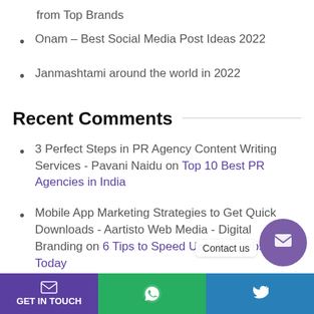from Top Brands
Onam – Best Social Media Post Ideas 2022
Janmashtami around the world in 2022
Recent Comments
3 Perfect Steps in PR Agency Content Writing Services - Pavani Naidu on Top 10 Best PR Agencies in India
Mobile App Marketing Strategies to Get Quick Downloads - Aartisto Web Media - Digital Branding on 6 Tips to Speed Up Your Website Today
10 Digital Wallets In India - Pavani Naidu on Be...
GET IN TOUCH | WhatsApp | Twitter